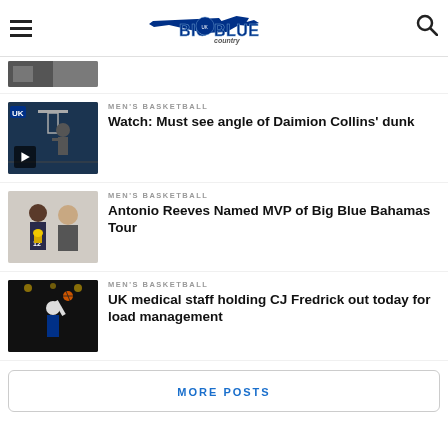Go Big Blue Country
[Figure (photo): Partial thumbnail of basketball player at top of page (cropped)]
MEN'S BASKETBALL
Watch: Must see angle of Daimion Collins' dunk
[Figure (photo): Basketball player dunking with play button overlay]
MEN'S BASKETBALL
Antonio Reeves Named MVP of Big Blue Bahamas Tour
[Figure (photo): Antonio Reeves holding trophy with coach]
MEN'S BASKETBALL
UK medical staff holding CJ Fredrick out today for load management
[Figure (photo): Basketball player shooting during practice]